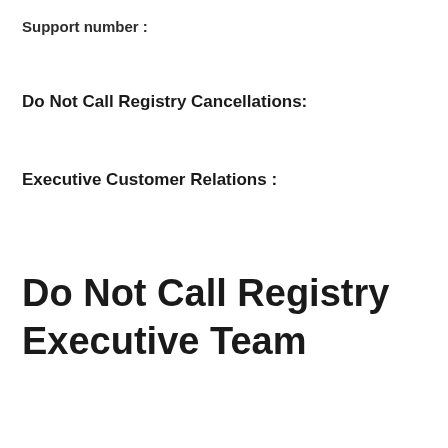Support number :
Do Not Call Registry Cancellations:
Executive Customer Relations :
Do Not Call Registry Executive Team